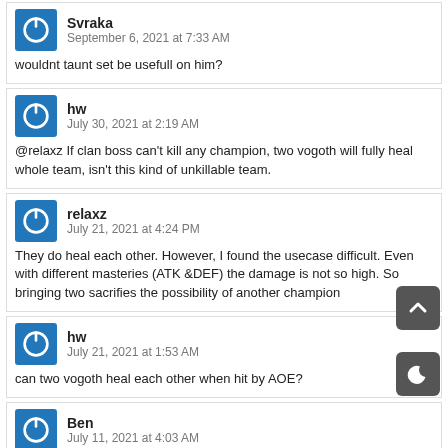Svraka
September 6, 2021 at 7:33 AM
wouldnt taunt set be usefull on him?
hw
July 30, 2021 at 2:19 AM
@relaxz If clan boss can't kill any champion, two vogoth will fully heal whole team, isn't this kind of unkillable team.
relaxz
July 21, 2021 at 4:24 PM
They do heal each other. However, I found the usecase difficult. Even with different masteries (ATK &DEF) the damage is not so high. So bringing two sacrifies the possibility of another champion
hw
July 21, 2021 at 1:53 AM
can two vogoth heal each other when hit by AOE?
Ben
July 11, 2021 at 4:03 AM
@Ayumilove – Thank you kindly.